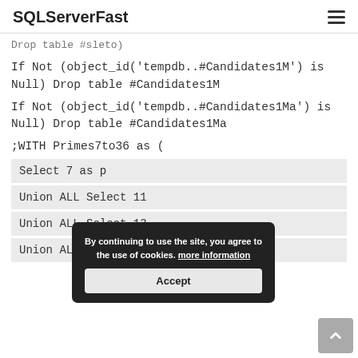SQLServerFast
Drop table #sleto)
If Not (object_id('tempdb..#Candidates1M') is Null)  Drop table #Candidates1M
If Not (object_id('tempdb..#Candidates1Ma') is Null)  Drop table #Candidates1Ma
;WITH Primes7to36 as (
Select 7 as p
Union ALL Select 11
Union ALL Select 13
Union ALL Select 17
[Figure (screenshot): Cookie consent dialog overlay: 'By continuing to use the site, you agree to the use of cookies. more information' with an Accept button.]